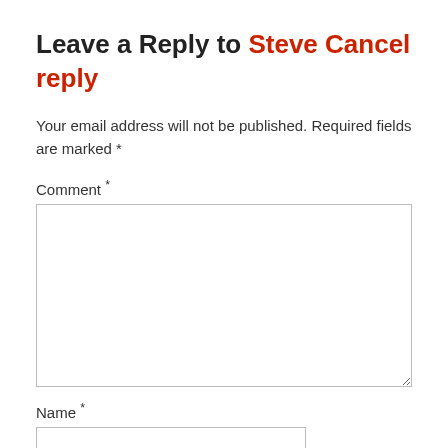Leave a Reply to Steve Cancel reply
Your email address will not be published. Required fields are marked *
Comment *
[Figure (other): Comment textarea input field]
Name *
[Figure (other): Name text input field]